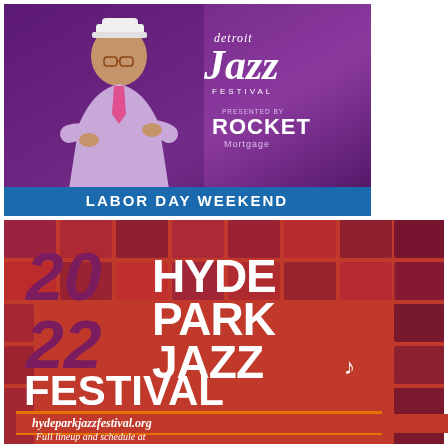[Figure (illustration): Detroit Jazz Festival advertisement showing a man in purple suit and white hat with crossed arms, festival logo with 'detroit Jazz FESTIVAL presented by ROCKET Mortgage', and 'LABOR DAY WEEKEND' banner at bottom]
[Figure (illustration): 2022 Hyde Park Jazz Festival advertisement with mosaic tile red/purple background, large text '2022 HYDE PARK JAZZ FESTIVAL', orange banner '24-25 SEPTEMBER', and website 'Full lineup and schedule at hydeparkjazzfestival.org']